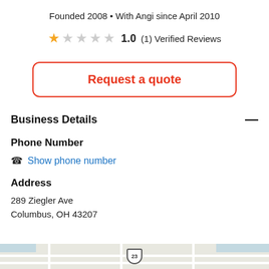Founded 2008 • With Angi since April 2010
★☆☆☆☆  1.0  (1) Verified Reviews
Request a quote
Business Details
Phone Number
Show phone number
Address
289 Ziegler Ave
Columbus, OH 43207
[Figure (map): Map strip showing street map at bottom of page]